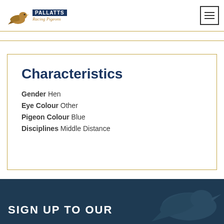[Figure (logo): Pallatts Racing Pigeons logo with golden pigeon silhouette, blue banner with PALLATTS text, and italic subtitle 'Racing Pigeons']
Characteristics
Gender Hen
Eye Colour Other
Pigeon Colour Blue
Disciplines Middle Distance
SIGN UP TO OUR